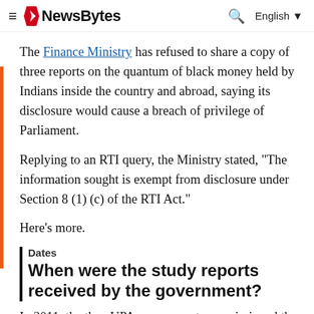NewsBytes — English
The Finance Ministry has refused to share a copy of three reports on the quantum of black money held by Indians inside the country and abroad, saying its disclosure would cause a breach of privilege of Parliament.
Replying to an RTI query, the Ministry stated, "The information sought is exempt from disclosure under Section 8 (1) (c) of the RTI Act."
Here's more.
Dates
When were the study reports received by the government?
In 2011, the then UPA government commissioned the three studies by Delhi-based National Institute of Public Finance and Policy (NIPFP), National Council of Applied